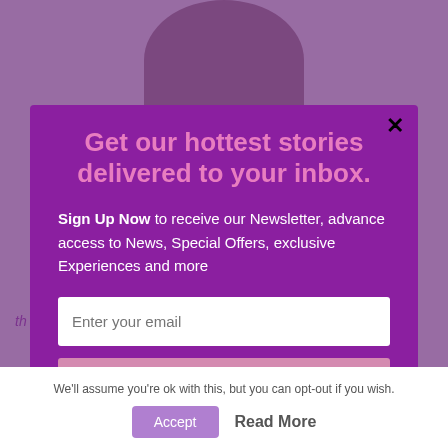[Figure (screenshot): Newsletter signup modal popup overlay on a website, with purple background and pink headline text]
Get our hottest stories delivered to your inbox.
Sign Up Now to receive our Newsletter, advance access to News, Special Offers, exclusive Experiences and more
Enter your email
Submit
We'll assume you're ok with this, but you can opt-out if you wish.
Accept
Read More